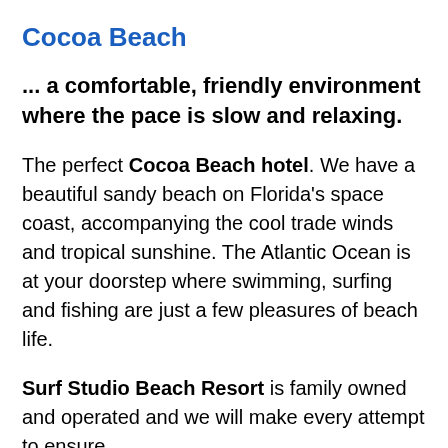Cocoa Beach
... a comfortable, friendly environment where the pace is slow and relaxing.
The perfect Cocoa Beach hotel. We have a beautiful sandy beach on Florida's space coast, accompanying the cool trade winds and tropical sunshine. The Atlantic Ocean is at your doorstep where swimming, surfing and fishing are just a few pleasures of beach life.
Surf Studio Beach Resort is family owned and operated and we will make every attempt to ensure